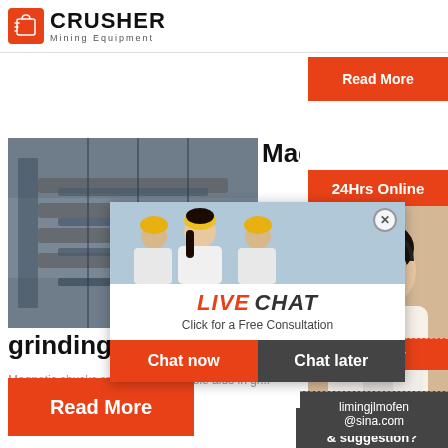[Figure (logo): Crusher Mining Equipment logo with red shopping bag icon and bold text]
[Figure (photo): Partially visible orange Read More button at top right]
[Figure (photo): Industrial conveyor/mining equipment photo]
Magn...
[Figure (screenshot): Live Chat overlay with workers photo, LIVE CHAT title, Chat now and Chat later buttons]
[Figure (photo): Customer service representative with headset on right sidebar, 24Hrs Online badge]
grinding|magsy.co.uk
Magnetic chucks represent invaluable aids in gr...
[Figure (other): Read More orange button]
Need questions & suggestion?
Chat Now
Enquiry
limingjlmofen@sina.com